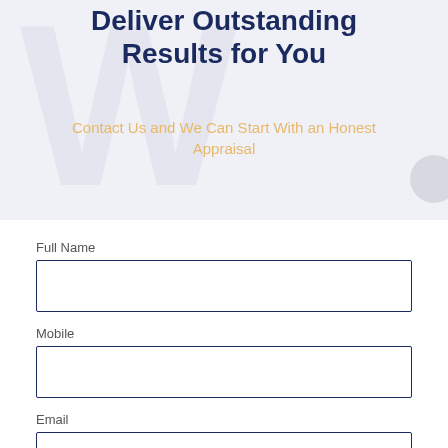Exceed Expectations and Deliver Outstanding Results for You
Contact Us and We Can Start With an Honest Appraisal
Full Name
Mobile
Email